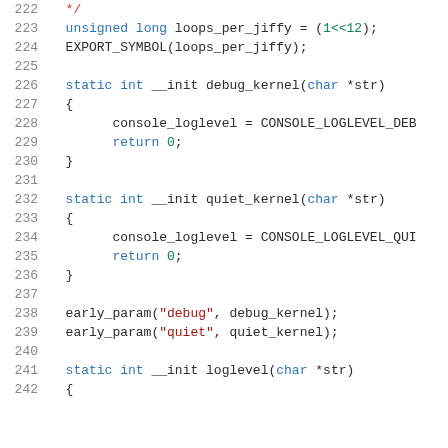Code listing lines 222-242, C source code showing kernel initialization functions
222    */
223    unsigned long loops_per_jiffy = (1<<12);
224    EXPORT_SYMBOL(loops_per_jiffy);
225
226    static int __init debug_kernel(char *str)
227    {
228            console_loglevel = CONSOLE_LOGLEVEL_DEB
229            return 0;
230    }
231
232    static int __init quiet_kernel(char *str)
233    {
234            console_loglevel = CONSOLE_LOGLEVEL_QUI
235            return 0;
236    }
237
238    early_param("debug", debug_kernel);
239    early_param("quiet", quiet_kernel);
240
241    static int __init loglevel(char *str)
242    {